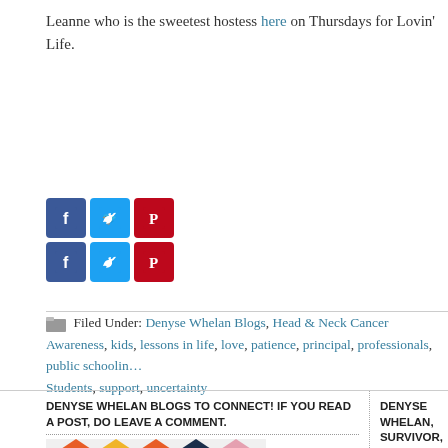Leanne who is the sweetest hostess here on Thursdays for Lovin' Life.
[Figure (other): Two rows of social media share buttons: Facebook (blue), Twitter (light blue), Pinterest (red) icons, repeated twice.]
Filed Under: Denyse Whelan Blogs, Head & Neck Cancer Awareness, kids, lessons in life, love, patience, principal, professionals, public schooling, Students, support, uncertainty
DENYSE WHELAN BLOGS TO CONNECT! IF YOU READ A POST, DO LEAVE A COMMENT.
DENYSE WHELAN, SURVIVOR, IS AN A
[Figure (photo): Colorful geometric diamond/chevron pattern with a photo of a person wearing sunglasses partially visible.]
[Figure (photo): Blue background with partial circular graphic visible.]